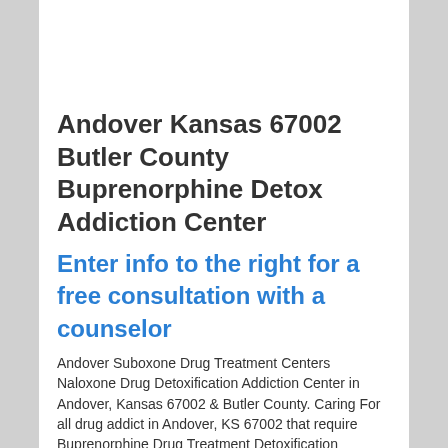Andover Kansas 67002 Butler County Buprenorphine Detox Addiction Center
Enter info to the right for a free consultation with a counselor
Andover Suboxone Drug Treatment Centers Naloxone Drug Detoxification Addiction Center in Andover, Kansas 67002 & Butler County. Caring For all drug addict in Andover, KS 67002 that require Buprenorphine Drug Treatment Detoxification
299 First Dr.
Andover, Kansas 67002
Phone: 1-888-929-4686